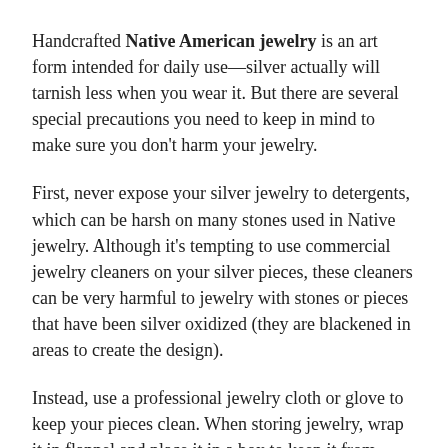Handcrafted Native American jewelry is an art form intended for daily use—silver actually will tarnish less when you wear it. But there are several special precautions you need to keep in mind to make sure you don't harm your jewelry.
First, never expose your silver jewelry to detergents, which can be harsh on many stones used in Native jewelry. Although it's tempting to use commercial jewelry cleaners on your silver pieces, these cleaners can be very harmful to jewelry with stones or pieces that have been silver oxidized (they are blackened in areas to create the design).
Instead, use a professional jewelry cloth or glove to keep your pieces clean. When storing jewelry, wrap it in flannel and place it in a box to keep it from tarnishing and getting scratched. For heishi and turquoise-bead necklaces, place them full-length, not bent, to prevent breakage of individual stones.